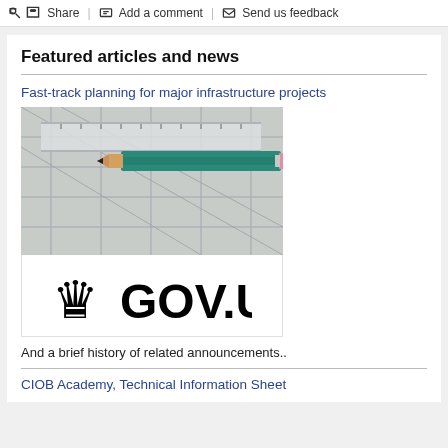Share | Add a comment | Send us feedback
Featured articles and news
Fast-track planning for major infrastructure projects
[Figure (photo): Photo of a pencil resting on blueprint/technical drawings with a ruler, overlaid with GOV.UK logo]
And a brief history of related announcements..
CIOB Academy, Technical Information Sheet